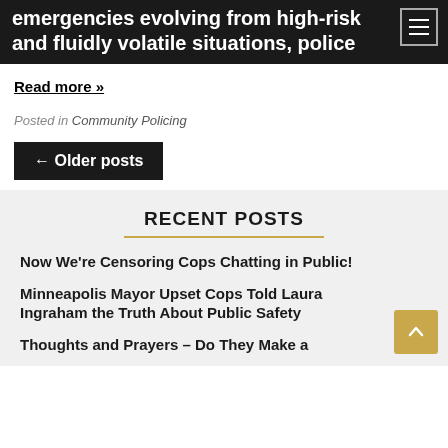emergencies evolving from high-risk and fluidly volatile situations, police
Read more »
Posted in Community Policing
← Older posts
RECENT POSTS
Now We're Censoring Cops Chatting in Public!
Minneapolis Mayor Upset Cops Told Laura Ingraham the Truth About Public Safety
Thoughts and Prayers – Do They Make a